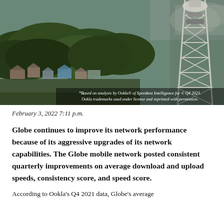[Figure (photo): Aerial view of a village with dense green trees and a tall telecommunications tower on the right side. Smoke visible in the background.]
*Based on analysis by Ookla® of Speedtest Intelligence for © Q4 2021. Ookla trademarks used under license and reprinted with permission.
February 3, 2022 7:11 p.m.
Globe continues to improve its network performance because of its aggressive upgrades of its network capabilities. The Globe mobile network posted consistent quarterly improvements on average download and upload speeds, consistency score, and speed score.
According to Ookla's Q4 2021 data, Globe's average...